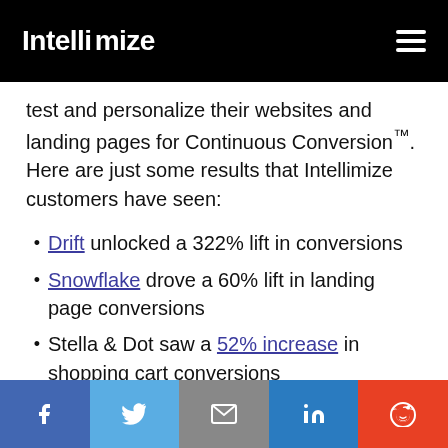Intellimize
test and personalize their websites and landing pages for Continuous Conversion™. Here are just some results that Intellimize customers have seen:
Drift unlocked a 322% lift in conversions
Snowflake drove a 60% lift in landing page conversions
Stella & Dot saw a 52% increase in shopping cart conversions
Social share bar: Facebook, Twitter, Email, LinkedIn, Reddit